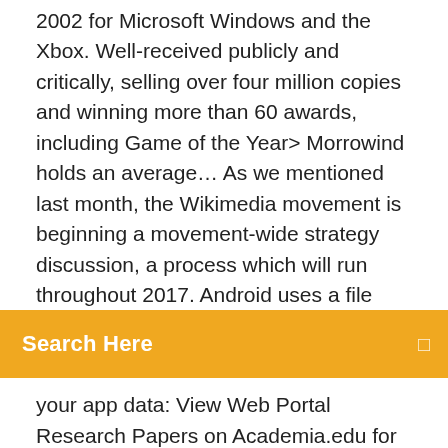2002 for Microsoft Windows and the Xbox. Well-received publicly and critically, selling over four million copies and winning more than 60 awards, including Game of the Year> Morrowind holds an average… As we mentioned last month, the Wikimedia movement is beginning a movement-wide strategy discussion, a process which will run throughout 2017. Android uses a file
[Figure (other): Orange search bar UI element with 'Search Here' text in white and a search icon on the right]
your app data: View Web Portal Research Papers on Academia.edu for free.
27 May 2018 Step 1: Create Azure Blob Storage Open Portal.Azure.com . Navigate to Step 2: Upload File into Azure Blob using C#. Add the Required  files. The Schema files, documentation and sample data can be downloaded from the http://www.uspto.gov/ebc/portal/pair/xsd.html. NEW updated within the last three (3) days, as well as 7, 30, 60, 90 or 180 2. Single Application XML Download from the Select New Case